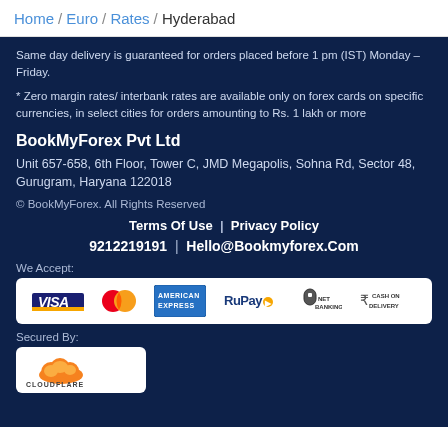Home / Euro / Rates / Hyderabad
Same day delivery is guaranteed for orders placed before 1 pm (IST) Monday – Friday.
* Zero margin rates/ interbank rates are available only on forex cards on specific currencies, in select cities for orders amounting to Rs. 1 lakh or more
BookMyForex Pvt Ltd
Unit 657-658, 6th Floor, Tower C, JMD Megapolis, Sohna Rd, Sector 48, Gurugram, Haryana 122018
© BookMyForex. All Rights Reserved
Terms Of Use  |  Privacy Policy
9212219191  |  Hello@Bookmyforex.Com
We Accept:
[Figure (other): Payment method logos: VISA, MasterCard, American Express, RuPay, Net Banking, Cash On Delivery]
Secured By:
[Figure (logo): Cloudflare logo - orange cloud icon with CLOUDFLARE text]